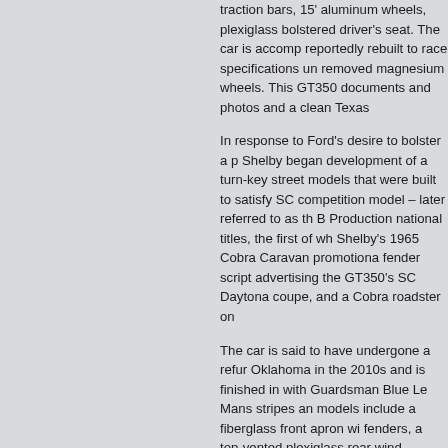traction bars, 15' aluminum wheels, plexiglass bolstered driver's seat. The car is accompanied, reportedly rebuilt to race specifications using removed magnesium wheels. This GT350 documents and photos and a clean Texas
In response to Ford's desire to bolster a p Shelby began development of a turn-key street models that were built to satisfy SC competition model – later referred to as th B Production national titles, the first of wh Shelby's 1965 Cobra Caravan promotional fender script advertising the GT350's SC Daytona coupe, and a Cobra roadster on
The car is said to have undergone a refur Oklahoma in the 2010s and is finished in with Guardsman Blue Le Mans stripes an models include a fiberglass front apron wi fenders, a top-vented plexiglass rear wind aluminum sail panel block-off plates.
Aluminum wheels were installed following BFGoodrich Radial T/A tires. The four rem sale and are wrapped in 9.50-15 racing ti a spare. Braking is handled without assist